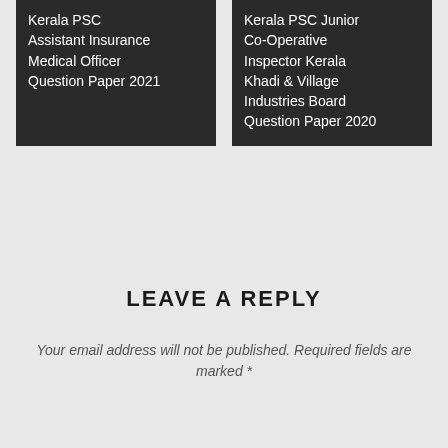Kerala PSC Assistant Insurance Medical Officer Question Paper 2021
Kerala PSC Junior Co-Operative Inspector Kerala Khadi & Village Industries Board Question Paper 2020
LEAVE A REPLY
Your email address will not be published. Required fields are marked *